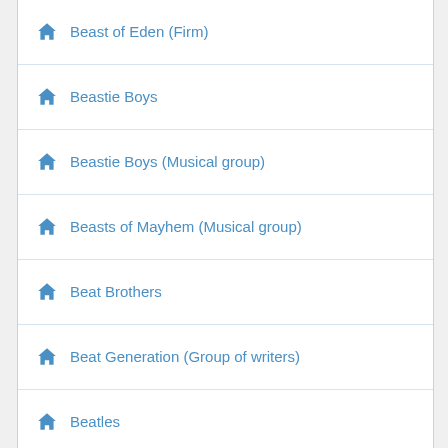Beast of Eden (Firm)
Beastie Boys
Beastie Boys (Musical group)
Beasts of Mayhem (Musical group)
Beat Brothers
Beat Generation (Group of writers)
Beatles
Beautiful Motion Pictures
Becket (Mass.)
Beckett Media LP
Bedford (Mass.)